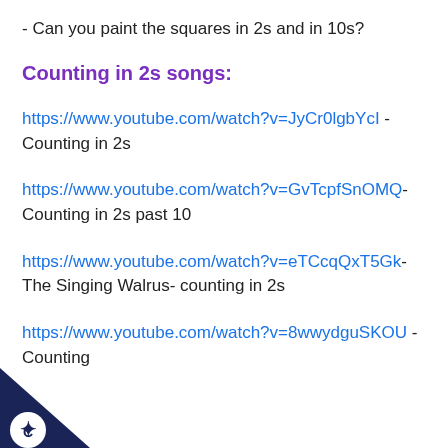- Can you paint the squares in 2s and in 10s?
Counting in 2s songs:
https://www.youtube.com/watch?v=JyCr0lgbYcI - Counting in 2s
https://www.youtube.com/watch?v=GvTcpfSnOMQ- Counting in 2s past 10
https://www.youtube.com/watch?v=eTCcqQxT5Gk- The Singing Walrus- counting in 2s
https://www.youtube.com/watch?v=8wwydguSKOU - Counting